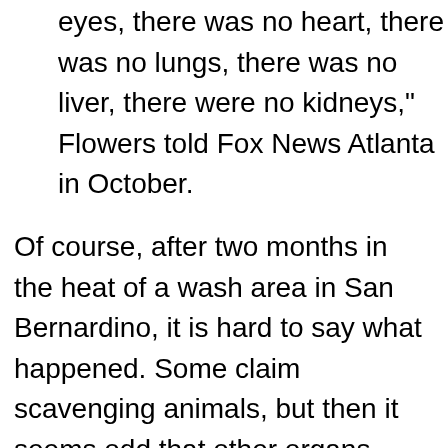eyes, there was no heart, there was no lungs, there was no liver, there were no kidneys," Flowers told Fox News Atlanta in October.
Of course, after two months in the heat of a wash area in San Bernardino, it is hard to say what happened. Some claim scavenging animals, but then it seems odd that other organs remain. Clearly dumped, the body appears to have been deliberately located in a remote region so that it would not be discovered before it decomposed.
One wonders how many other cases like this